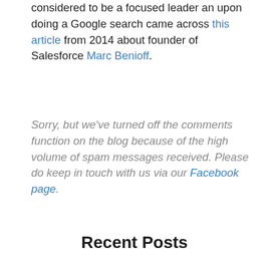considered to be a focused leader an upon doing a Google search came across this article from 2014 about founder of Salesforce Marc Benioff.
Sorry, but we've turned off the comments function on the blog because of the high volume of spam messages received. Please do keep in touch with us via our Facebook page.
Recent Posts